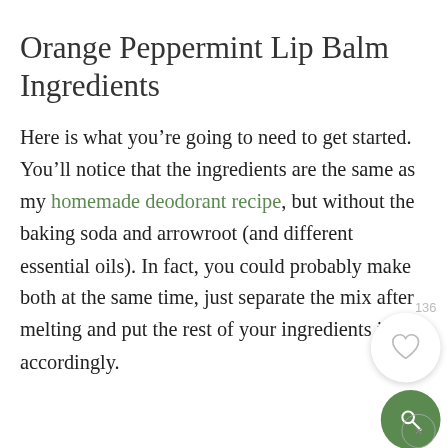Orange Peppermint Lip Balm Ingredients
Here is what you’re going to need to get started. You’ll notice that the ingredients are the same as my homemade deodorant recipe, but without the baking soda and arrowroot (and different essential oils). In fact, you could probably make both at the same time, just separate the mix after melting and put the rest of your ingredients in accordingly.
MY LATEST VIDEOS